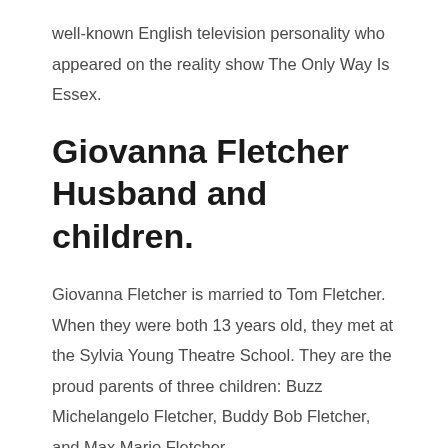well-known English television personality who appeared on the reality show The Only Way Is Essex.
Giovanna Fletcher Husband and children.
Giovanna Fletcher is married to Tom Fletcher. When they were both 13 years old, they met at the Sylvia Young Theatre School. They are the proud parents of three children: Buzz Michelangelo Fletcher, Buddy Bob Fletcher, and Max Mario Fletcher.